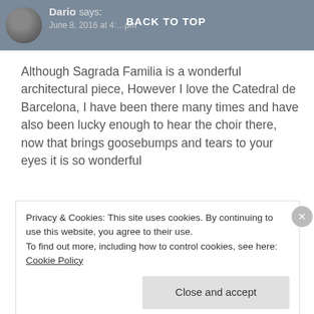Dario says: June 8, 2016 at 4:…pm — BACK TO TOP
Although Sagrada Familia is a wonderful architectural piece, However I love the Catedral de Barcelona, I have been there many times and have also been lucky enough to hear the choir there, now that brings goosebumps and tears to your eyes it is so wonderful
★ Liked by 1 person
Reply ›
Privacy & Cookies: This site uses cookies. By continuing to use this website, you agree to their use.
To find out more, including how to control cookies, see here: Cookie Policy
Close and accept